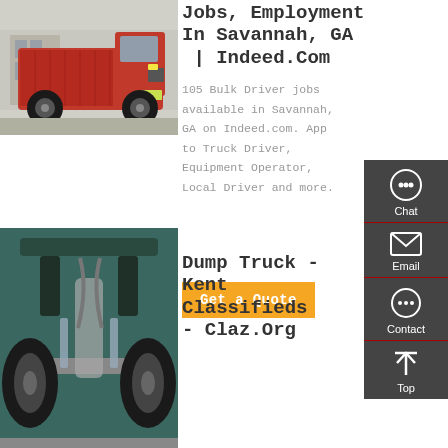[Figure (photo): Red dump truck parked in a lot, front view]
Jobs, Employment In Savannah, GA | Indeed.Com
105 Bulk Driver jobs available in Savannah, GA on Indeed.com. Apply to Truck Driver, Equipment Operator, Local Driver and more.
[Figure (other): Orange 'Get a Quote' button]
[Figure (other): Dark sidebar panel with Chat, Email, Contact, Top icons]
[Figure (photo): Underside/chassis view of a teal dump truck]
Dump Truck - Kent Classifieds - Claz.Org